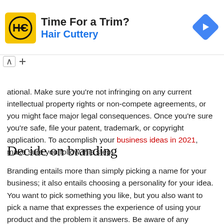[Figure (other): Hair Cuttery advertisement banner with yellow logo showing 'HC' initials, text 'Time For a Trim?' and 'Hair Cuttery', and a blue diamond navigation arrow icon on the right.]
ational. Make sure you're not infringing on any current intellectual property rights or non-compete agreements, or you might face major legal consequences. Once you're sure you're safe, file your patent, trademark, or copyright application. To accomplish your business ideas in 2021, make sure you follow this step.
Decide on branding
Branding entails more than simply picking a name for your business; it also entails choosing a personality for your idea. You want to pick something you like, but you also want to pick a name that expresses the experience of using your product and the problem it answers. Be aware of any